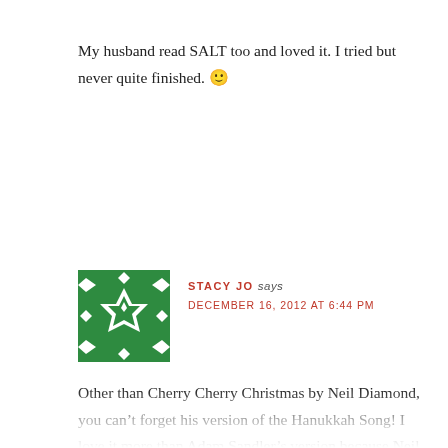My husband read SALT too and loved it. I tried but never quite finished. 🙂
[Figure (illustration): Green and white decorative avatar/gravatar icon with geometric star and diamond pattern on green background]
STACY JO says
DECEMBER 16, 2012 AT 6:44 PM
Other than Cherry Cherry Christmas by Neil Diamond, you can't forget his version of the Hanukkah Song! I love it more than Adam Sandler's version because Neil is so serious about it! LOVE IT! Oh, and then there's the family favorite of mine, Percy the Puny Poinsettia by Elmo and Patsy (the same people